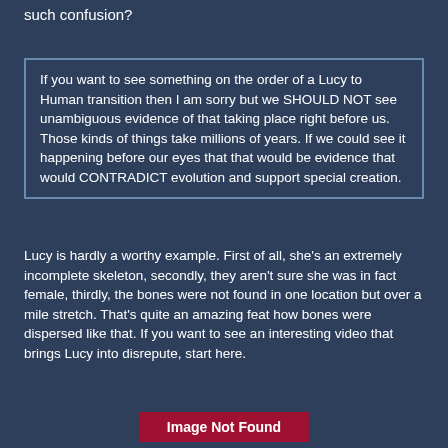selection have gobbled up any creature in such confusion?
If you want to see something on the order of a Lucy to Human transition then I am sorry but we SHOULD NOT see unambiguous evidence of that taking place right before us. Those kinds of things take millions of years. If we could see it happening before our eyes that that would be evidence that would CONTRADICT evolution and support special creation.
Lucy is hardly a worthy example. First of all, she's an extremely incomplete skeleton, secondly, they aren't sure she was in fact female, thirdly, the bones were not found in one location but over a mile stretch. That's quite an amazing feat how bones were dispersed like that. If you want to see an interesting video that brings Lucy into disrepute, start here.
[Figure (other): Image Not Found placeholder button with dark red background]